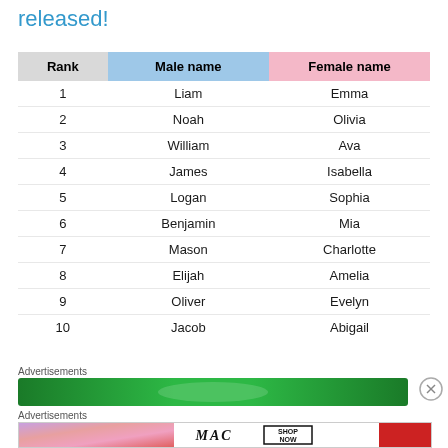released!
| Rank | Male name | Female name |
| --- | --- | --- |
| 1 | Liam | Emma |
| 2 | Noah | Olivia |
| 3 | William | Ava |
| 4 | James | Isabella |
| 5 | Logan | Sophia |
| 6 | Benjamin | Mia |
| 7 | Mason | Charlotte |
| 8 | Elijah | Amelia |
| 9 | Oliver | Evelyn |
| 10 | Jacob | Abigail |
Advertisements
[Figure (other): Green advertisement banner]
Advertisements
[Figure (other): MAC cosmetics advertisement banner with lipsticks and SHOP NOW button]